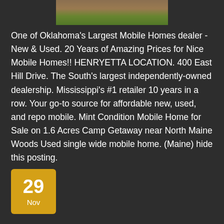[Figure (photo): Partial view of a mobile home exterior with steps and greenery, shown at the top of the page]
One of Oklahoma's Largest Mobile Homes dealer - New & Used. 20 Years of Amazing Prices for Nice Mobile Homes!! HENRYETTA LOCATION. 400 East Hill Drive. The South's largest independently-owned dealership. Mississippi's #1 retailer 10 years in a row. Your go-to source for affordable new, used, and repo mobile. Mint Condition Mobile Home for Sale on 1.6 Acres Camp Getaway near North Maine Woods Used single wide mobile home. (Maine) hide this posting.
Read More
29 Nov